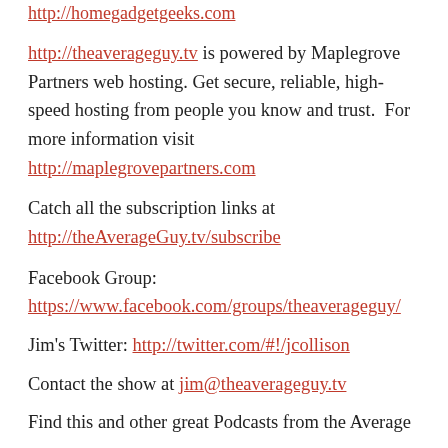http://homegadgetgeeks.com
http://theaverageguy.tv is powered by Maplegrove Partners web hosting. Get secure, reliable, high-speed hosting from people you know and trust.  For more information visit http://maplegrovepartners.com
Catch all the subscription links at http://theAverageGuy.tv/subscribe
Facebook Group: https://www.facebook.com/groups/theaverageguy/
Jim's Twitter: http://twitter.com/#!/jcollison
Contact the show at jim@theaverageguy.tv
Find this and other great Podcasts from the Average Guy at theaverageguy.tv